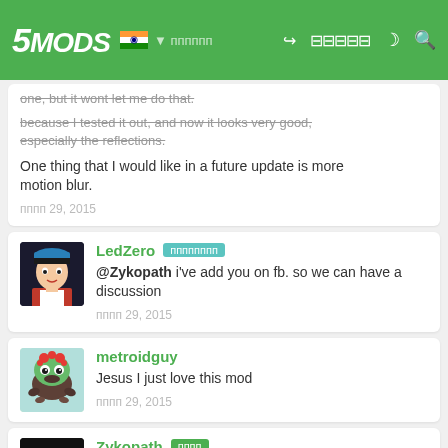5MODS - navigation header with logo, flag, icons
one, but it wont let me do that. because I tested it out, and now it looks very good, especially the reflections. One thing that I would like in a future update is more motion blur.
ппппп 29, 2015
LedZero [badge] @Zykopath i've add you on fb. so we can have a discussion
ппппп 29, 2015
metroidguy - Jesus I just love this mod
ппппп 29, 2015
Zykopath [badge] @Ryank02 good news, your old rating is now deleted!
ппппп 30, 2015